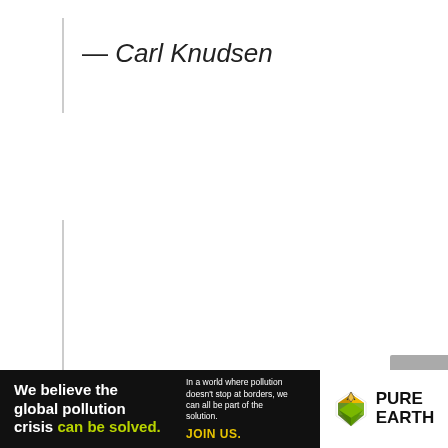— Carl Knudsen
[Figure (logo): Pure Earth organization logo with diamond/chevron icon in yellow and green]
[Figure (infographic): Pure Earth advertisement banner: 'We believe the global pollution crisis can be solved.' with tagline about pollution not stopping at borders and JOIN US call to action]